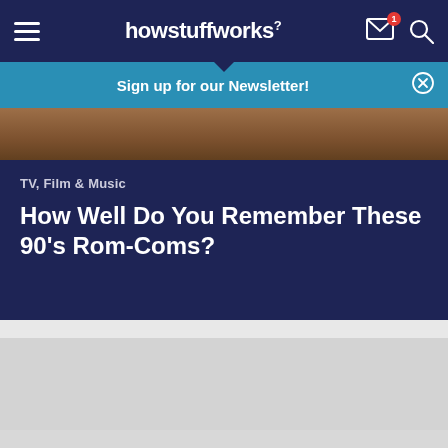howstuffworks
Sign up for our Newsletter!
[Figure (photo): Partially visible photo strip at top of article content area, showing warm-toned image (people in a scene, brownish tones)]
TV, Film & Music
How Well Do You Remember These 90's Rom-Coms?
[Figure (other): Light grey rectangle — advertisement or content placeholder area]